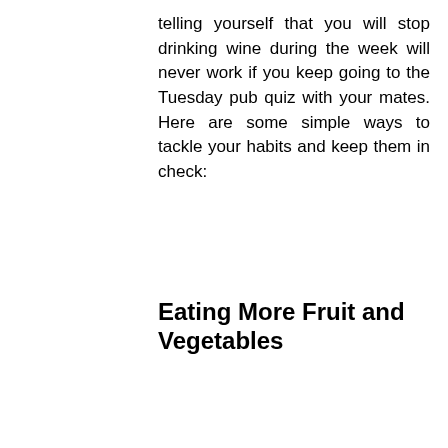telling yourself that you will stop drinking wine during the week will never work if you keep going to the Tuesday pub quiz with your mates. Here are some simple ways to tackle your habits and keep them in check:
Eating More Fruit and Vegetables